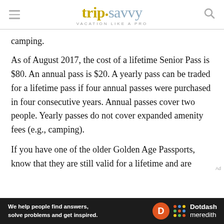tripsavvy VACATION LIKE A PRO
camping.
As of August 2017, the cost of a lifetime Senior Pass is $80. An annual pass is $20. A yearly pass can be traded for a lifetime pass if four annual passes were purchased in four consecutive years. Annual passes cover two people. Yearly passes do not cover expanded amenity fees (e.g., camping).
If you have one of the older Golden Age Passports, know that they are still valid for a lifetime and are
[Figure (logo): Dotdash Meredith advertisement bar: 'We help people find answers, solve problems and get inspired.' with Dotdash Meredith logo]